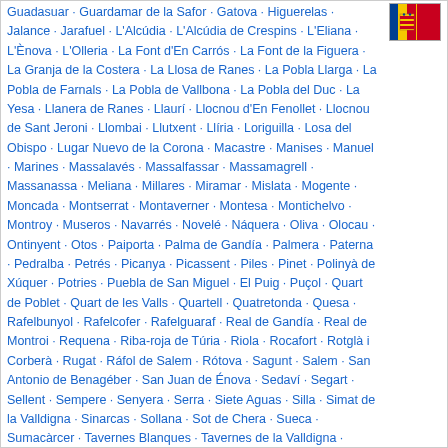Guadasuar · Guardamar de la Safor · Gatova · Higuerelas · Jalance · Jarafuel · L'Alcúdia · L'Alcúdia de Crespins · L'Eliana · L'Ènova · L'Olleria · La Font d'En Carrós · La Font de la Figuera · La Granja de la Costera · La Llosa de Ranes · La Pobla Llarga · La Pobla de Farnals · La Pobla de Vallbona · La Pobla del Duc · La Yesa · Llanera de Ranes · Llaurí · Llocnou d'En Fenollet · Llocnou de Sant Jeroni · Llombai · Llutxent · Llíria · Loriguilla · Losa del Obispo · Lugar Nuevo de la Corona · Macastre · Manises · Manuel · Marines · Massalavés · Massalfassar · Massamagrell · Massanassa · Meliana · Millares · Miramar · Mislata · Mogente · Moncada · Montserrat · Montaverner · Montesa · Montichelvo · Montroy · Museros · Navarrés · Novelé · Náquera · Oliva · Olocau · Ontinyent · Otos · Paiporta · Palma de Gandía · Palmera · Paterna · Pedralba · Petrés · Picanya · Picassent · Piles · Pinet · Polinyà de Xúquer · Potries · Puebla de San Miguel · El Puig · Puçol · Quart de Poblet · Quart de les Valls · Quartell · Quatretonda · Quesa · Rafelbunyol · Rafelcofer · Rafelguaraf · Real de Gandía · Real de Montroi · Requena · Riba-roja de Túria · Riola · Rocafort · Rotglà i Corberà · Rugat · Ráfol de Salem · Rótova · Sagunt · Salem · San Antonio de Benagéber · San Juan de Énova · Sedaví · Segart · Sellent · Sempere · Senyera · Serra · Siete Aguas · Silla · Simat de la Valldigna · Sinarcas · Sollana · Sot de Chera · Sueca · Sumacàrcer · Tavernes Blanques · Tavernes de la Valldigna · Teresa de Cofrentes · Terrateig ·
[Figure (illustration): Flag of Valencia — vertical stripes of blue, yellow, yellow, red, red, red with a coat of arms badge in the center-left area]